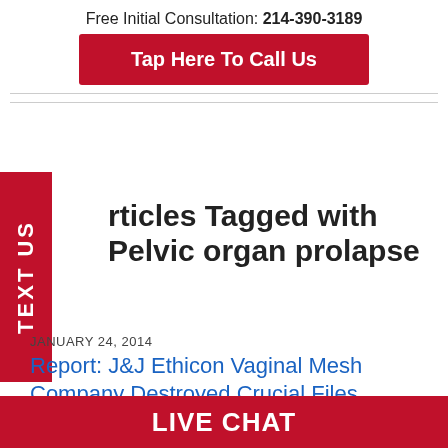Free Initial Consultation: 214-390-3189
Tap Here To Call Us
Articles Tagged with Pelvic organ prolapse
JANUARY 24, 2014
Report: J&J Ethicon Vaginal Mesh Company Destroyed Crucial Files
by Dr. Shezad Malik
LIVE CHAT